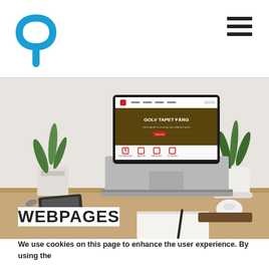P logo and hamburger menu
[Figure (photo): Laptop on a desk showing a website with 'GOLV TAPET FÄRG' text, flanked by potted plants, a phone, notebooks, and a mouse on a wooden desk surface.]
WEBPAGES
We use cookies on this page to enhance the user experience. By using the